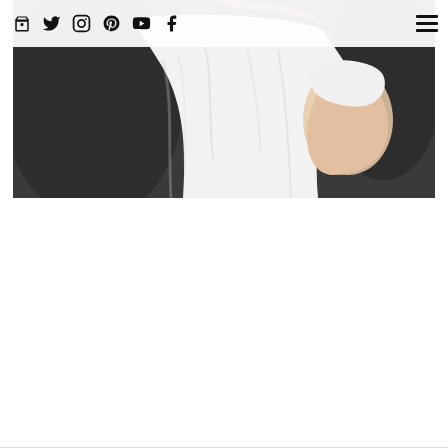Navigation bar with shopping bag, Twitter, Instagram, Pinterest, YouTube, Facebook icons and hamburger menu
[Figure (photo): Partial photo of a person wearing a white t-shirt against a dark background, cropped to show torso and arm only. The top navigation bar overlays the top portion of the image.]